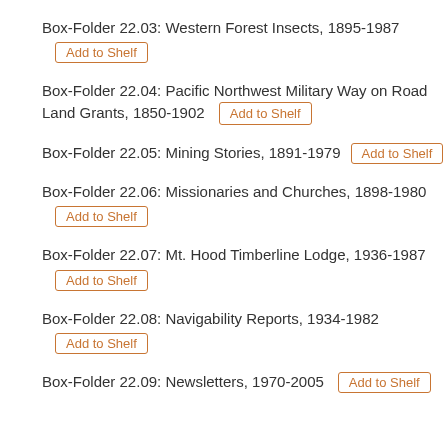Box-Folder 22.03: Western Forest Insects, 1895-1987
Box-Folder 22.04: Pacific Northwest Military Way on Road Land Grants, 1850-1902
Box-Folder 22.05: Mining Stories, 1891-1979
Box-Folder 22.06: Missionaries and Churches, 1898-1980
Box-Folder 22.07: Mt. Hood Timberline Lodge, 1936-1987
Box-Folder 22.08: Navigability Reports, 1934-1982
Box-Folder 22.09: Newsletters, 1970-2005